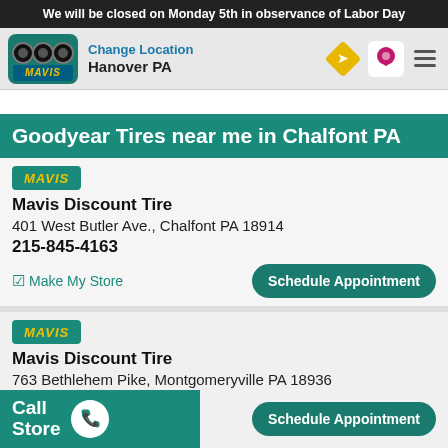We will be closed on Monday 5th in observance of Labor Day
[Figure (logo): Mavis Discount Tire logo with tires graphic and navigation elements including Change Location, Hanover PA, direction icon, location pin icon, hamburger menu]
Goodyear Tires near me in Chalfont PA
[Figure (logo): Mavis badge logo - teal background with yellow italic MAVIS text]
Mavis Discount Tire
401 West Butler Ave., Chalfont PA 18914
215-845-4163
✓ Make My Store
[Figure (other): Schedule Appointment button]
[Figure (logo): Mavis badge logo - teal background with yellow italic MAVIS text]
Mavis Discount Tire
763 Bethlehem Pike, Montgomeryville PA 18936
267-219-8513
Call Store
[Figure (other): Schedule Appointment button]